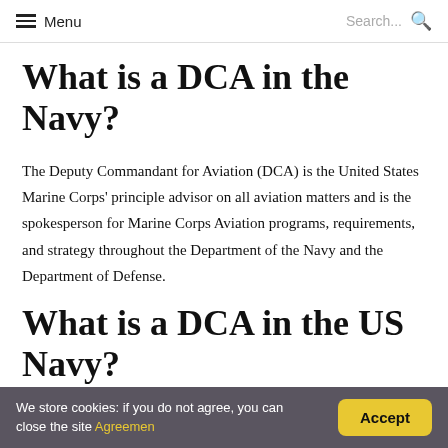Menu   Search...
What is a DCA in the Navy?
The Deputy Commandant for Aviation (DCA) is the United States Marine Corps' principle advisor on all aviation matters and is the spokesperson for Marine Corps Aviation programs, requirements, and strategy throughout the Department of the Navy and the Department of Defense.
What is a DCA in the US Navy?
We store cookies: if you do not agree, you can close the site Agreemen   Accept